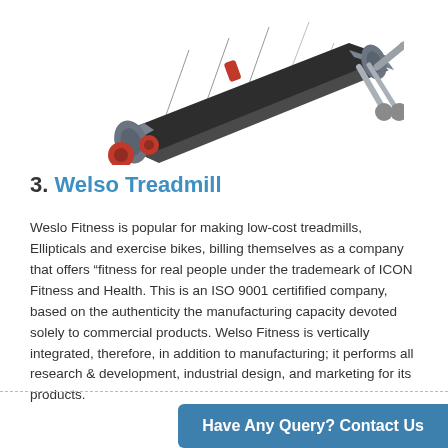[Figure (photo): A folded/flat treadmill with grey frame, black belt, and red accent wheels/clips, photographed against a white background from a side-angle view.]
3. Welso Treadmill
Weslo Fitness is popular for making low-cost treadmills, Ellipticals and exercise bikes, billing themselves as a company that offers “fitness for real people under the trademeark of ICON Fitness and Health. This is an ISO 9001 certifified company, based on the authenticity the manufacturing capacity devoted solely to commercial products. Welso Fitness is vertically integrated, therefore, in addition to manufacturing; it performs all research & development, industrial design, and marketing for its products.
Have Any Query? Contact Us